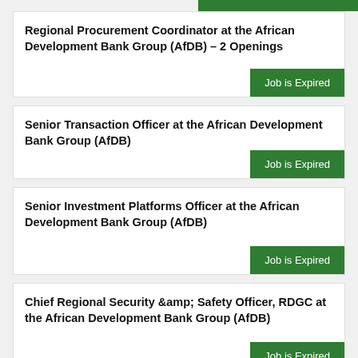Regional Procurement Coordinator at the African Development Bank Group (AfDB) – 2 Openings
Senior Transaction Officer at the African Development Bank Group (AfDB)
Senior Investment Platforms Officer at the African Development Bank Group (AfDB)
Chief Regional Security &amp; Safety Officer, RDGC at the African Development Bank Group (AfDB)